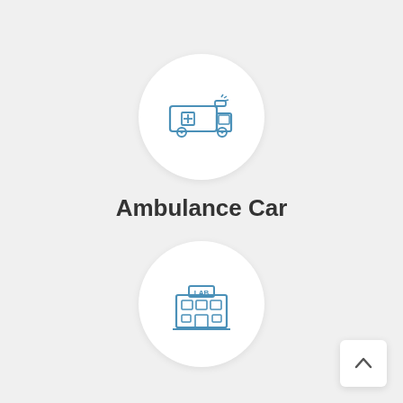[Figure (illustration): Ambulance car icon inside a white circle — a blue outline ambulance vehicle with a cross symbol and flashing light on top]
Ambulance Car
[Figure (illustration): Laboratory building icon inside a white circle — a blue outline building with LAB sign on top and windows/doors]
[Figure (illustration): Scroll-up arrow button in bottom right corner — upward chevron in a white rounded square]